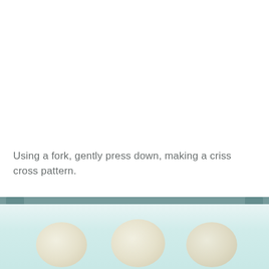Using a fork, gently press down, making a criss cross pattern.
[Figure (photo): Bottom portion of page showing a baking tray with round cookie dough balls, viewed from slightly above. The tray has a teal/green rim and the cookies appear light-colored/unbaked.]